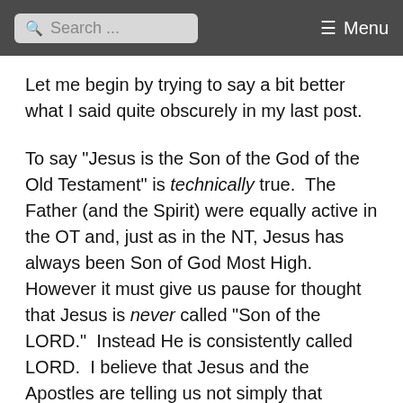Search ... Menu
Let me begin by trying to say a bit better what I said quite obscurely in my last post.
To say "Jesus is the Son of the God of the Old Testament" is technically true.  The Father (and the Spirit) were equally active in the OT and, just as in the NT, Jesus has always been Son of God Most High. However it must give us pause for thought that Jesus is never called "Son of the LORD."  Instead He is consistently called LORD.  I believe that Jesus and the Apostles are telling us not simply that "Jesus is ontologically equal to the God of Israel" but that "Jesus is and always has been the God of Israel", ie